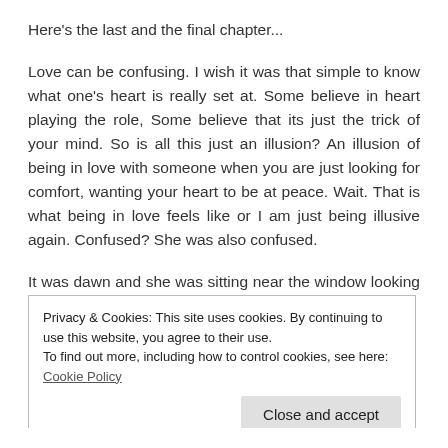Here's the last and the final chapter...
Love can be confusing. I wish it was that simple to know what one's heart is really set at. Some believe in heart playing the role, Some believe that its just the trick of your mind. So is all this just an illusion? An illusion of being in love with someone when you are just looking for comfort, wanting your heart to be at peace. Wait. That is what being in love feels like or I am just being illusive again. Confused? She was also confused.
It was dawn and she was sitting near the window looking at the sky trying to find the answers to her
Privacy & Cookies: This site uses cookies. By continuing to use this website, you agree to their use.
To find out more, including how to control cookies, see here: Cookie Policy
Close and accept